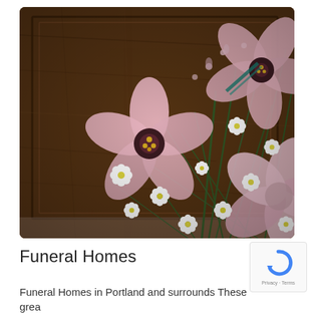[Figure (photo): Overhead photo of pink flowers (lisianthus/peonies) and white daisy-like flowers arranged on a dark wooden casket surface]
Funeral Homes
Funeral Homes in Portland and surrounds These grea